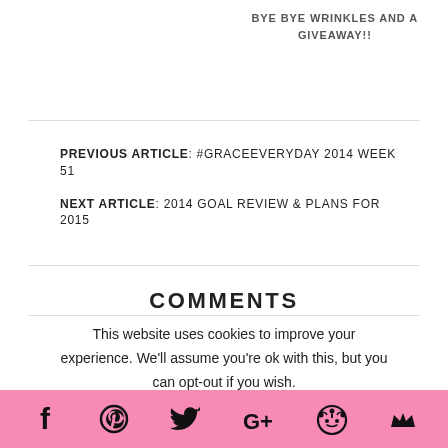BYE BYE WRINKLES AND A GIVEAWAY!!
PREVIOUS ARTICLE: #GRACEEVERYDAY 2014 WEEK 51
NEXT ARTICLE: 2014 GOAL REVIEW & PLANS FOR 2015
COMMENTS
This website uses cookies to improve your experience. We'll assume you're ok with this, but you can opt-out if you wish. Accept Reject Read